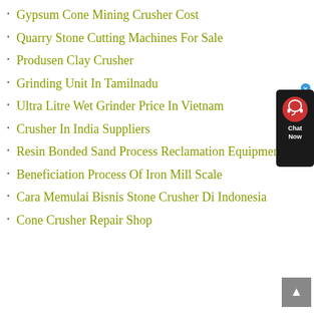Gypsum Cone Mining Crusher Cost
Quarry Stone Cutting Machines For Sale
Produsen Clay Crusher
Grinding Unit In Tamilnadu
Ultra Litre Wet Grinder Price In Vietnam
Crusher In India Suppliers
Resin Bonded Sand Process Reclamation Equipments
Beneficiation Process Of Iron Mill Scale
Cara Memulai Bisnis Stone Crusher Di Indonesia
Cone Crusher Repair Shop